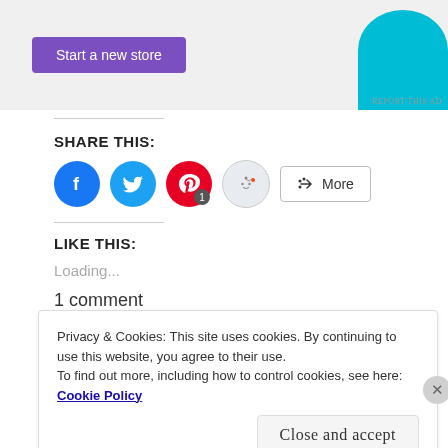[Figure (screenshot): Ad banner with purple 'Start a new store' button and cyan decorative shape. 'REPORT THIS AD' text at bottom right.]
SHARE THIS:
[Figure (infographic): Social share buttons: Facebook (blue circle), Twitter (cyan circle), Pinterest (red circle with badge '1'), Reddit (light blue circle), and a 'More' button.]
LIKE THIS:
Loading...
1 comment
Privacy & Cookies: This site uses cookies. By continuing to use this website, you agree to their use.
To find out more, including how to control cookies, see here: Cookie Policy